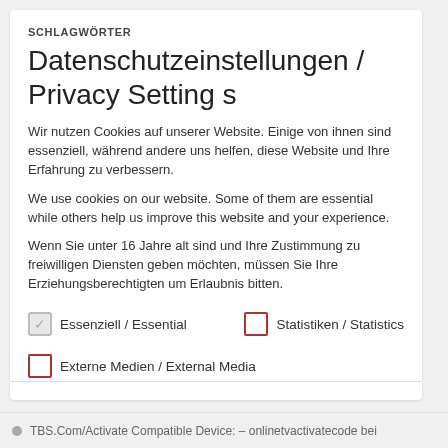SCHLAGWÖRTER
Datenschutzeinstellungen / Privacy Settings
Wir nutzen Cookies auf unserer Website. Einige von ihnen sind essenziell, während andere uns helfen, diese Website und Ihre Erfahrung zu verbessern.
We use cookies on our website. Some of them are essential while others help us improve this website and your experience.
Wenn Sie unter 16 Jahre alt sind und Ihre Zustimmung zu freiwilligen Diensten geben möchten, müssen Sie Ihre Erziehungsberechtigten um Erlaubnis bitten.
Wir verwenden Cookies und andere Technologien auf unserer Website. Einige von ihnen sind essenziell, während andere uns helfen, diese
Essenziell / Essential
Statistiken / Statistics
Externe Medien / External Media
TBS.Com/Activate Compatible Device: – onlinetvactivatecode bei